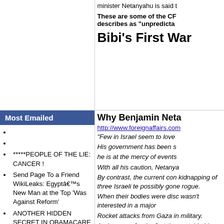minister Netanyahu is said t
These are some of the CF describes as “unpredicta
Bibi’s First War
Why Benjamin Neta
http://www.foreignaffairs.com
“Few in Israel seem to love
His government has been s
he is at the mercy of events
With all his caution, Netanya
Most Emailed
*****PEOPLE OF THE LIE: CANCER !
Send Page To a Friend WikiLeaks: Egyptâs New Man at the Top ‘Was Against Reform’
ANOTHER HIDDEN SECRET IN OBAMACARE ‘RFID CHIP IMPLANTS’
By contrast, the current con kidnapping of three Israeli te possibly gone rogue.
When their bodies were disc wasn’t interested in a major
Rocket attacks from Gaza in military.
And so now, for the first time outside his control.
Hamas has launched countless rockets at Israel, including parts of the country previ
Read complete article here: http://www.foreignaffairs.com/articles/141641/hussein